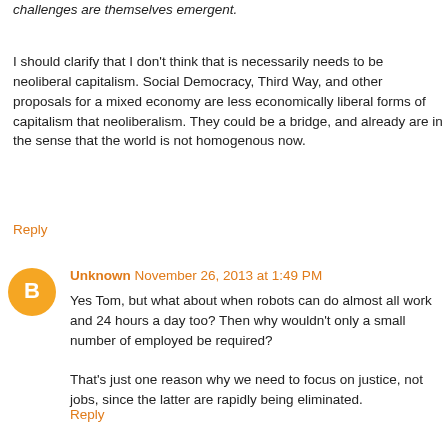challenges are themselves emergent.
I should clarify that I don't think that is necessarily needs to be neoliberal capitalism. Social Democracy, Third Way, and other proposals for a mixed economy are less economically liberal forms of capitalism that neoliberalism. They could be a bridge, and already are in the sense that the world is not homogenous now.
Reply
Unknown November 26, 2013 at 1:49 PM
Yes Tom, but what about when robots can do almost all work and 24 hours a day too? Then why wouldn't only a small number of employed be required?

That's just one reason why we need to focus on justice, not jobs, since the latter are rapidly being eliminated.
Reply